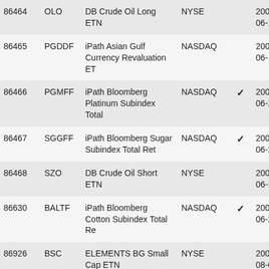| ID | Ticker | Name | Exchange | Check | Date1 | Date2 |
| --- | --- | --- | --- | --- | --- | --- |
| 86464 | OLO | DB Crude Oil Long ETN | NYSE |  | 2008-06-19 | 04 |
| 86465 | PGDDF | iPath Asian Gulf Currency Revaluation ET | NASDAQ |  | 2008-06-18 | 08 |
| 86466 | PGMFF | iPath Bloomberg Platinum Subindex Total | NASDAQ | ✓ | 2008-06-25 | 08 |
| 86467 | SGGFF | iPath Bloomberg Sugar Subindex Total Ret | NASDAQ | ✓ | 2008-06-25 | 08 |
| 86468 | SZO | DB Crude Oil Short ETN | NYSE |  | 2008-06-18 | 04 |
| 86630 | BALTF | iPath Bloomberg Cotton Subindex Total Re | NASDAQ | ✓ | 2008-06-25 | 08 |
| 86926 | BSC | ELEMENTS BG Small Cap ETN | NYSE |  | 2008-08-07 | 08 |
| 87055 | BVL | DB AG ELEMENTS BG Large Cap ETN | NYSE |  | 2008-08-13 | 08 |